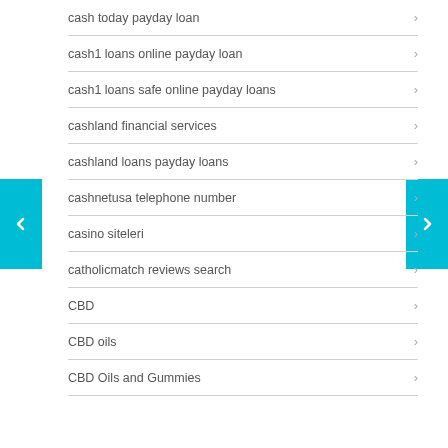cash today payday loan
cash1 loans online payday loan
cash1 loans safe online payday loans
cashland financial services
cashland loans payday loans
cashnetusa telephone number
casino siteleri
catholicmatch reviews search
CBD
CBD oils
CBD Oils and Gummies